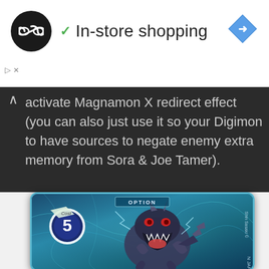[Figure (screenshot): App icon: black circle with white infinity/loop symbol]
✓ In-store shopping
[Figure (logo): Blue diamond navigation arrow icon in top right]
activate Magnamon X redirect effect (you can also just use it so your Digimon to have sources to negate enemy extra memory from Sora & Joe Tamer).
[Figure (photo): Digimon card game card - OPTION type, Cost 5, featuring Magnamon X (armored dragon-like creature with sharp teeth and claws) on blue energy background. Text: OPTION, Cost 5, Shin Sasaki, N JAPAN]